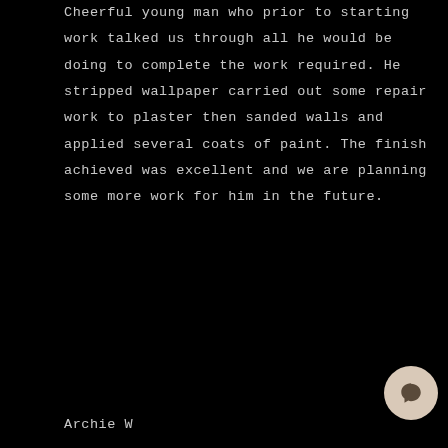Cheerful young man who prior to starting work talked us through all he would be doing to complete the work required. He stripped wallpaper carried out some repair work to plaster then sanded walls and applied several coats of paint. The finish achieved was excellent and we are planning some more work for him in the future.
Archie W